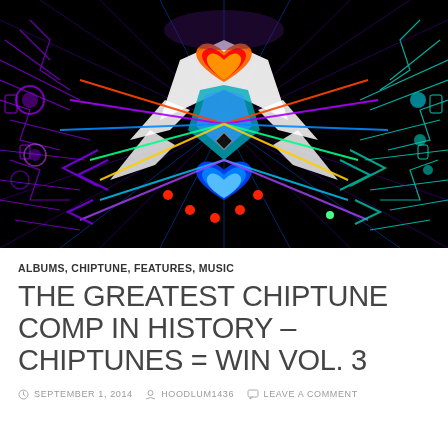[Figure (illustration): Colorful psychedelic digital artwork featuring a symmetrical owl/totem-like figure with neon circuit board patterns, hearts, and radiating lines on a black background. Colors include purple, blue, green, orange, red, white, and teal.]
ALBUMS, CHIPTUNE, FEATURES, MUSIC
THE GREATEST CHIPTUNE COMP IN HISTORY – CHIPTUNES = WIN VOL. 3
SEPTEMBER 1, 2014  HOODLUM1436  LEAVE A COMMENT